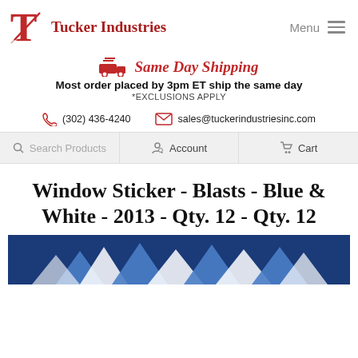Tucker Industries — Menu
Same Day Shipping — Most order placed by 3pm ET ship the same day *EXCLUSIONS APPLY
(302) 436-4240    sales@tuckerindustriesinc.com
Search Products   Account   Cart
Window Sticker - Blasts - Blue & White - 2013 - Qty. 12 - Qty. 12
[Figure (photo): Blue and white window sticker product image — blasts pattern on dark blue background]